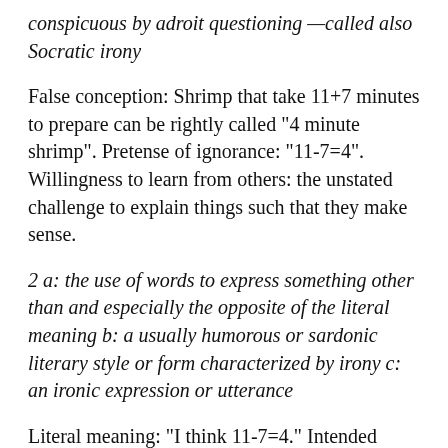conspicuous by adroit questioning —called also Socratic irony
False conception: Shrimp that take 11+7 minutes to prepare can be rightly called "4 minute shrimp". Pretense of ignorance: "11-7=4". Willingness to learn from others: the unstated challenge to explain things such that they make sense.
2 a: the use of words to express something other than and especially the opposite of the literal meaning b: a usually humorous or sardonic literary style or form characterized by irony c: an ironic expression or utterance
Literal meaning: "I think 11-7=4." Intended